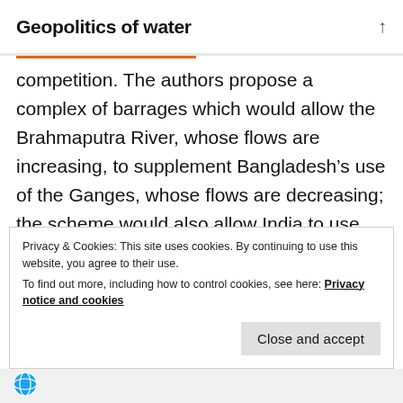Geopolitics of water
competition. The authors propose a complex of barrages which would allow the Brahmaputra River, whose flows are increasing, to supplement Bangladesh’s use of the Ganges, whose flows are decreasing; the scheme would also allow India to use more of the Ganges’ flows elsewhere, in drier parts of its catchment. The complex would require substantial cross-border collaboration, in support of the development of a river basin in which over
Privacy & Cookies: This site uses cookies. By continuing to use this website, you agree to their use.
To find out more, including how to control cookies, see here: Privacy notice and cookies
Close and accept